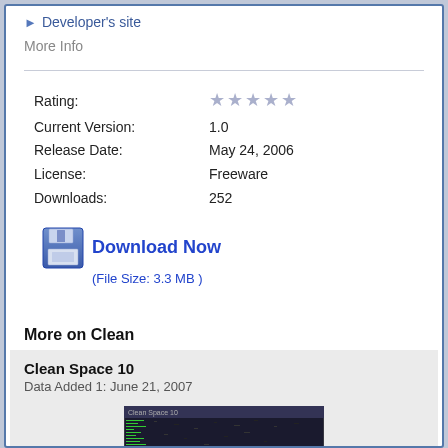Developer's site
More Info
| Rating: | ★★★★★ |
| Current Version: | 1.0 |
| Release Date: | May 24, 2006 |
| License: | Freeware |
| Downloads: | 252 |
Download Now (File Size: 3.3 MB )
More on Clean
Clean Space 10
Data Added 1: June 21, 2007
[Figure (screenshot): Screenshot of Clean Space 10 application window]